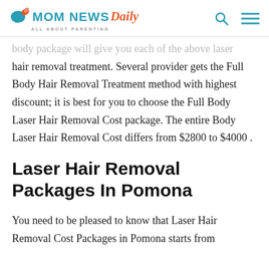MOM NEWS Daily — ALL ABOUT PARENTING
body package will give you each of the above laser hair removal treatment. Several provider gets the Full Body Hair Removal Treatment method with highest discount; it is best for you to choose the Full Body Laser Hair Removal Cost package. The entire Body Laser Hair Removal Cost differs from $2800 to $4000 .
Laser Hair Removal Packages In Pomona
You need to be pleased to know that Laser Hair Removal Cost Packages in Pomona starts from